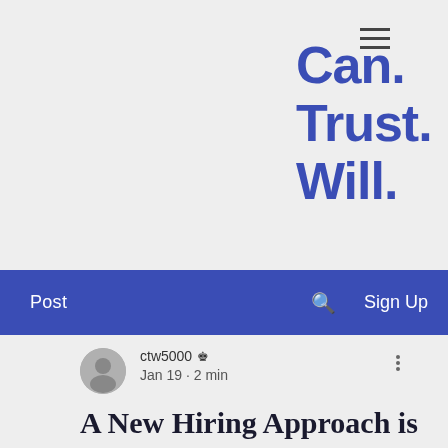Can.
Trust.
Will.
Post   🔍   Sign Up
ctw5000 👑
Jan 19 · 2 min
A New Hiring Approach is Needed in